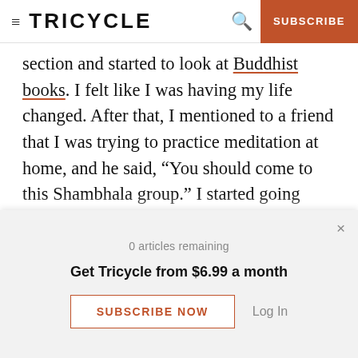TRICYCLE | SUBSCRIBE
section and started to look at Buddhist books. I felt like I was having my life changed. After that, I mentioned to a friend that I was trying to practice meditation at home, and he said, “You should come to this Shambhala group.” I started going regularly. I read a lot of Buddhist books, too. Ethan Nichtern’s The Road Home is one of my favorites. I try to listen to it once a year. Those ideas get into my thoughts
0 articles remaining
Get Tricycle from $6.99 a month
SUBSCRIBE NOW
Log In
in the music video for the last song on the